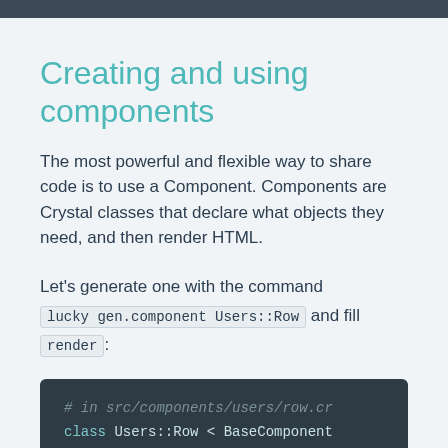Creating and using components
The most powerful and flexible way to share code is to use a Component. Components are Crystal classes that declare what objects they need, and then render HTML.
Let's generate one with the command lucky gen.component Users::Row and fill render:
# in src/components/users/row.cr
class Users::Row < BaseComponent
  needs user : User

  def render